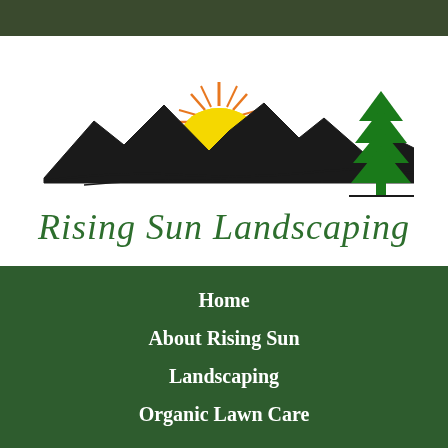[Figure (logo): Rising Sun Landscaping logo with mountain silhouette, rising sun, and pine tree]
Rising Sun Landscaping
Home
About Rising Sun Landscaping
Organic Lawn Care